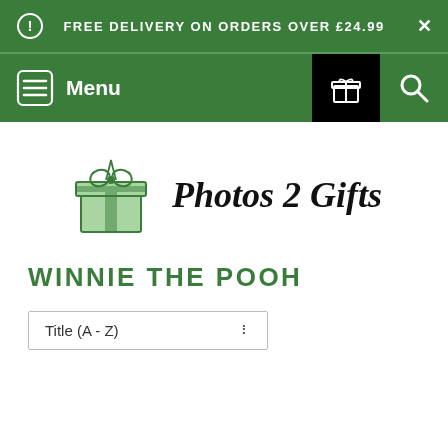FREE DELIVERY ON ORDERS OVER £24.99
Menu
[Figure (logo): Photos 2 Gifts logo with green gift box icon and italic text 'Photos 2 Gifts']
WINNIE THE POOH
Title (A - Z)